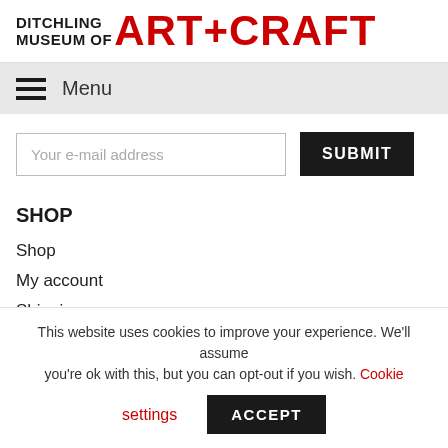DITCHLING MUSEUM OF ART+CRAFT
Menu
Your e-mail address
SHOP
Shop
My account
Shipping
Returns policy
This website uses cookies to improve your experience. We'll assume you're ok with this, but you can opt-out if you wish. Cookie settings ACCEPT